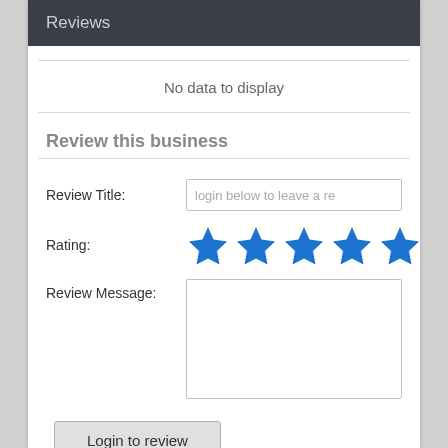Reviews
No data to display
Review this business
Review Title: login below to leave a re
[Figure (other): Five blue star rating icons]
Review Message: (empty textarea)
Login to review